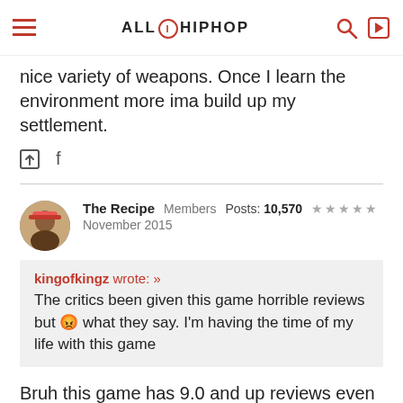ALL HIP HOP
nice variety of weapons. Once I learn the environment more ima build up my settlement.
The Recipe  Members  Posts: 10,570  ★★★★★  November 2015
kingofkingz wrote: » The critics been given this game horrible reviews but 😡 what they say. I'm having the time of my life with this game
Bruh this game has 9.0 and up reviews even though its got a bunch of bugs.